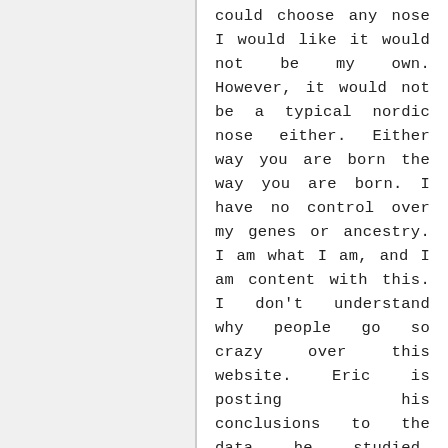could choose any nose I would like it would not be my own. However, it would not be a typical nordic nose either. Either way you are born the way you are born. I have no control over my genes or ancestry. I am what I am, and I am content with this. I don't understand why people go so crazy over this website. Eric is posting his conclusions to the data he studied. Whether he is right or wrong does not matter. I believe that no matter who you are and what